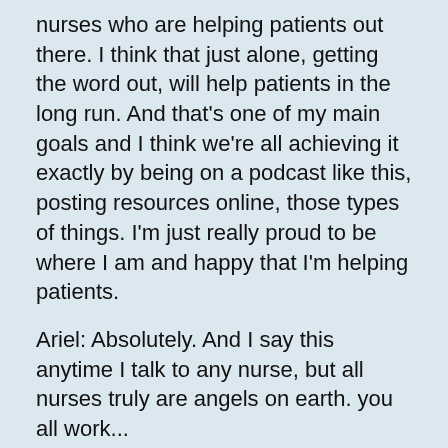nurses who are helping patients out there. I think that just alone, getting the word out, will help patients in the long run. And that's one of my main goals and I think we're all achieving it exactly by being on a podcast like this, posting resources online, those types of things. I'm just really proud to be where I am and happy that I'm helping patients.
Ariel: Absolutely. And I say this anytime I talk to any nurse, but all nurses truly are angels on earth. you all work...
Kerri: Oh my goodness.
Ariel: ...so hard and do so much for patients. So thank you so much for the work that you do, especially with this population of people where they, like we were just discussing, can feel so isolated and overwhelmed. the care of a nurse that guides you in